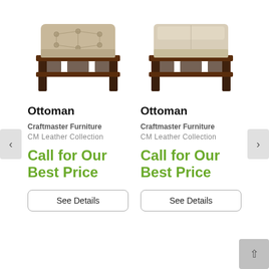[Figure (photo): Tufted leather ottoman with dark wood frame and bottom shelf, beige/champagne color]
Ottoman
Craftmaster Furniture
CM Leather Collection
Call for Our Best Price
See Details
[Figure (photo): Smooth leather ottoman with dark wood frame and bottom shelf, light beige/cream color]
Ottoman
Craftmaster Furniture
CM Leather Collection
Call for Our Best Price
See Details